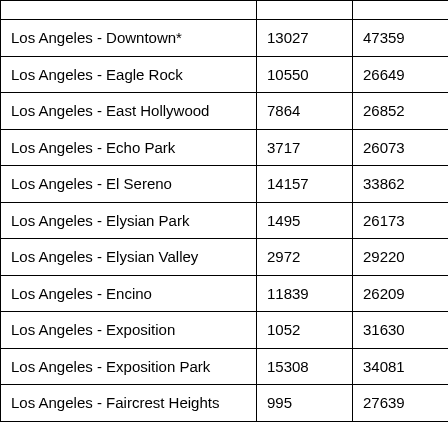| Los Angeles - Downtown* | 13027 | 47359 |
| Los Angeles - Eagle Rock | 10550 | 26649 |
| Los Angeles - East Hollywood | 7864 | 26852 |
| Los Angeles - Echo Park | 3717 | 26073 |
| Los Angeles - El Sereno | 14157 | 33862 |
| Los Angeles - Elysian Park | 1495 | 26173 |
| Los Angeles - Elysian Valley | 2972 | 29220 |
| Los Angeles - Encino | 11839 | 26209 |
| Los Angeles - Exposition | 1052 | 31630 |
| Los Angeles - Exposition Park | 15308 | 34081 |
| Los Angeles - Faircrest Heights | 995 | 27639 |